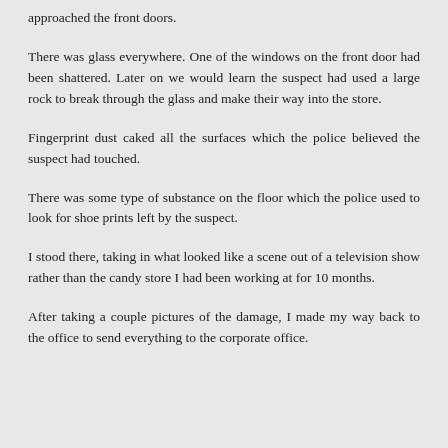approached the front doors.
There was glass everywhere. One of the windows on the front door had been shattered. Later on we would learn the suspect had used a large rock to break through the glass and make their way into the store.
Fingerprint dust caked all the surfaces which the police believed the suspect had touched.
There was some type of substance on the floor which the police used to look for shoe prints left by the suspect.
I stood there, taking in what looked like a scene out of a television show rather than the candy store I had been working at for 10 months.
After taking a couple pictures of the damage, I made my way back to the office to send everything to the corporate office.